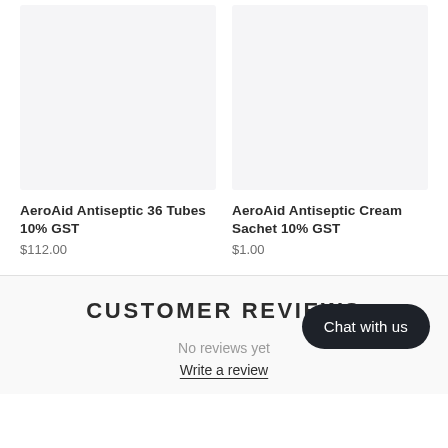[Figure (photo): Product image placeholder for AeroAid Antiseptic 36 Tubes 10% GST — light gray rectangle]
AeroAid Antiseptic 36 Tubes 10% GST
$112.00
[Figure (photo): Product image placeholder for AeroAid Antiseptic Cream Sachet 10% GST — light gray rectangle]
AeroAid Antiseptic Cream Sachet 10% GST
$1.00
CUSTOMER REVIEWS
No reviews yet
Write a review